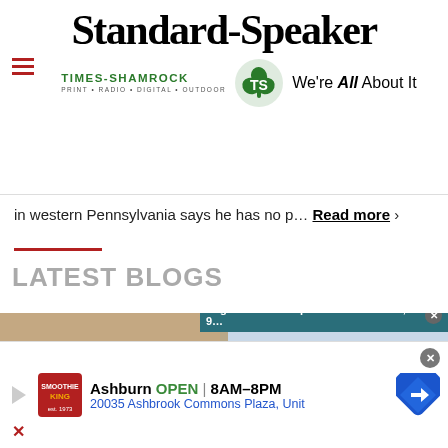Standard-Speaker
[Figure (logo): Times-Shamrock Print Radio Digital Outdoor logo with shamrock graphic and 'We're All About It' slogan]
in western Pennsylvania says he has no p… Read more
LATEST BLOGS
[Figure (screenshot): Screenshot of a webpage showing a video popup with headline 'Puget Sound floatplane crash: 1 dead, 9...' overlaid on a food photo on the left and a Coast Guard boat on water on the right]
[Figure (infographic): Advertisement banner: Smoothie King - Ashburn OPEN 8AM-8PM - 20035 Ashbrook Commons Plaza, Unit]